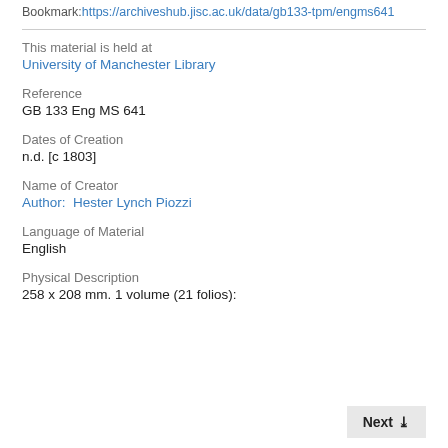Bookmark: https://archiveshub.jisc.ac.uk/data/gb133-tpm/engms641
This material is held at
University of Manchester Library
Reference
GB 133 Eng MS 641
Dates of Creation
n.d. [c 1803]
Name of Creator
Author: Hester Lynch Piozzi
Language of Material
English
Physical Description
258 x 208 mm. 1 volume (21 folios):